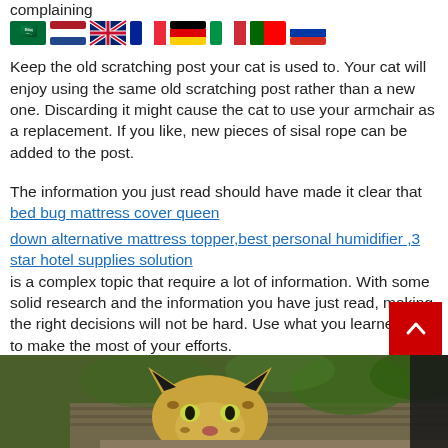complaining
[Figure (illustration): Row of country flag emoji icons: Saudi Arabia, Netherlands, United Kingdom, France, Germany, Italy, Portugal, Russia, Spain]
Keep the old scratching post your cat is used to. Your cat will enjoy using the same old scratching post rather than a new one. Discarding it might cause the cat to use your armchair as a replacement. If you like, new pieces of sisal rope can be added to the post.
The information you just read should have made it clear that bed bug mattress cover queen down alternative mattress topper,best personal humidifier ,3 star hotel supplies solution is a complex topic that require a lot of information. With some solid research and the information you have just read, making the right decisions will not be hard. Use what you learned here to make the most of your efforts.
[Figure (photo): Leopard cub peeking over a wooden surface with green foliage in the background]